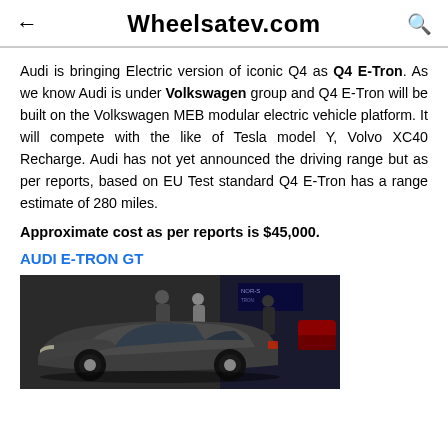Wheelsatev.com
Audi is bringing Electric version of iconic Q4 as Q4 E-Tron. As we know Audi is under Volkswagen group and Q4 E-Tron will be built on the Volkswagen MEB modular electric vehicle platform. It will compete with the like of Tesla model Y, Volvo XC40 Recharge. Audi has not yet announced the driving range but as per reports, based on EU Test standard Q4 E-Tron has a range estimate of 280 miles.
Approximate cost as per reports is $45,000.
AUDI E-TRON GT
[Figure (photo): Photo of the Audi E-Tron GT sports car at an auto show event, with people visible in the background and a dark exhibition backdrop.]